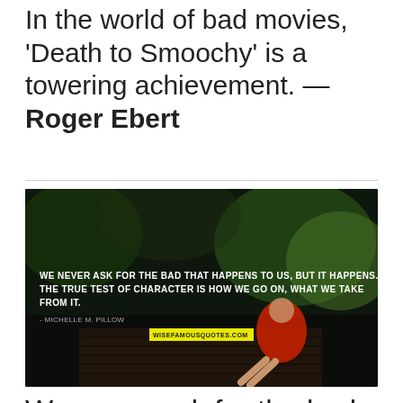In the world of bad movies, 'Death to Smoochy' is a towering achievement. — Roger Ebert
[Figure (photo): Dark atmospheric photo of a woman in a red dress sitting on a wooden dock/bridge in a forest, with overlaid white uppercase quote text: 'WE NEVER ASK FOR THE BAD THAT HAPPENS TO US, BUT IT HAPPENS. THE TRUE TEST OF CHARACTER IS HOW WE GO ON, WHAT WE TAKE FROM IT.' attributed to Michelle M. Pillow, with wisefamousquotes.com watermark.]
We never ask for the bad that happens to us, but it happens.